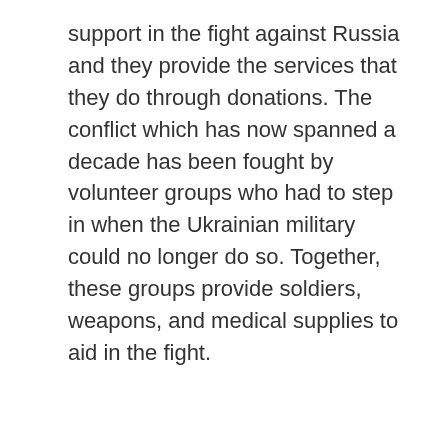support in the fight against Russia and they provide the services that they do through donations. The conflict which has now spanned a decade has been fought by volunteer groups who had to step in when the Ukrainian military could no longer do so. Together, these groups provide soldiers, weapons, and medical supplies to aid in the fight.